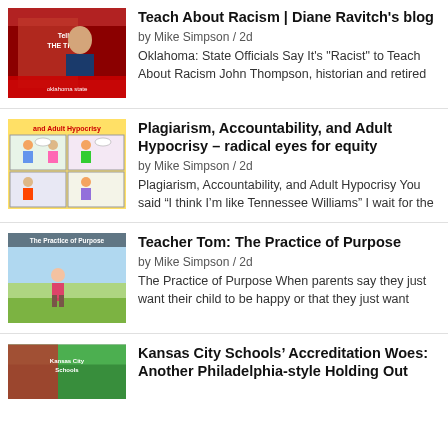[Figure (photo): Thumbnail image for article about teaching racism, showing a man in a suit with red and white text overlay]
Teach About Racism | Diane Ravitch's blog
by Mike Simpson / 2d
Oklahoma: State Officials Say It's "Racist" to Teach About Racism John Thompson, historian and retired
[Figure (illustration): Thumbnail showing comic-style illustration of adults and children with text 'and Adult Hypocrisy']
Plagiarism, Accountability, and Adult Hypocrisy – radical eyes for equity
by Mike Simpson / 2d
Plagiarism, Accountability, and Adult Hypocrisy You said “I think I’m like Tennessee Williams” I wait for the
[Figure (photo): Thumbnail showing a young girl standing in a field, title text 'The Practice of Purpose']
Teacher Tom: The Practice of Purpose
by Mike Simpson / 2d
The Practice of Purpose When parents say they just want their child to be happy or that they just want
[Figure (photo): Thumbnail for Kansas City Schools Accreditation article, green and red image]
Kansas City Schools’ Accreditation Woes: Another Philadelphia-style Holding Out